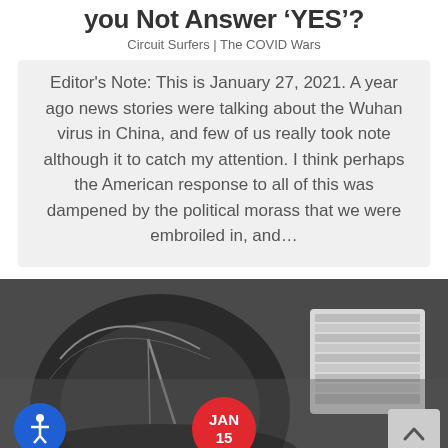you Not Answer 'YES'?
Circuit Surfers | The COVID Wars
Editor's Note: This is January 27, 2021. A year ago news stories were talking about the Wuhan virus in China, and few of us really took note although it to catch my attention. I think perhaps the American response to all of this was dampened by the political morass that we were embroiled in, and…
[Figure (photo): Black and white close-up photograph of electronic components including what appears to be a needle/probe and a chip or wafer]
JAN 15